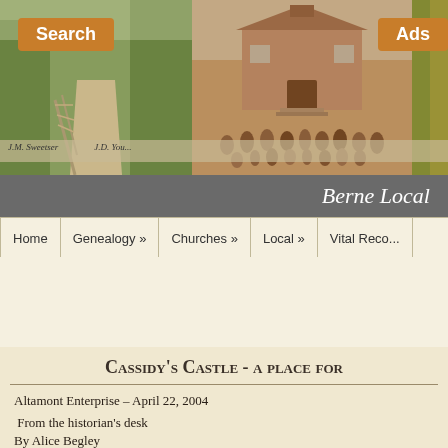[Figure (photo): Header banner with three photos: left shows a road through green trees (vintage postcard), center shows a group of children standing in front of a small school building (sepia photograph), right shows a forest scene with autumn colors.]
Search
Ads
Berne Local
Home | Genealogy » | Churches » | Local » | Vital Reco...
Cassidy's Castle - a place for
Altamont Enterprise – April 22, 2004
From the historian's desk
By Alice Begley